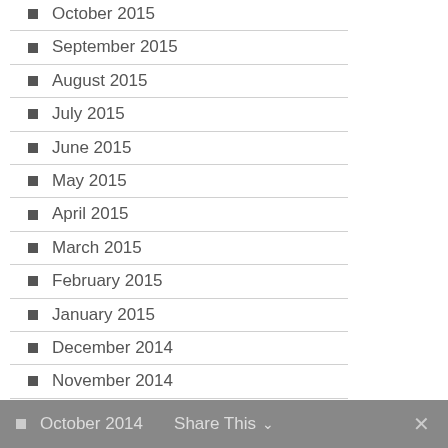October 2015
September 2015
August 2015
July 2015
June 2015
May 2015
April 2015
March 2015
February 2015
January 2015
December 2014
November 2014
October 2014   Share This   ✕